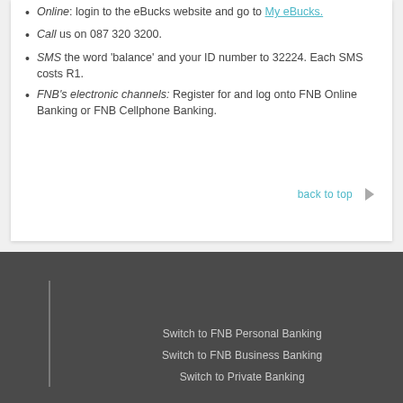Online: login to the eBucks website and go to My eBucks.
Call us on 087 320 3200.
SMS the word 'balance' and your ID number to 32224. Each SMS costs R1.
FNB's electronic channels: Register for and log onto FNB Online Banking or FNB Cellphone Banking.
back to top
Switch to FNB Personal Banking
Switch to FNB Business Banking
Switch to Private Banking